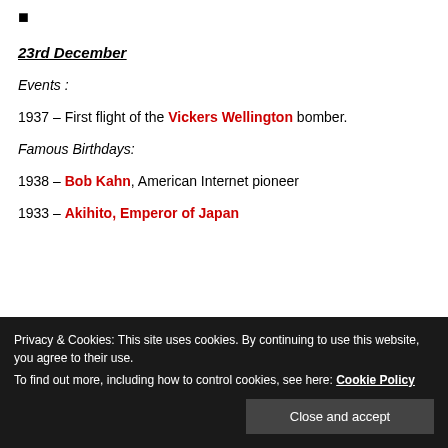■
23rd December
Events :
1937 – First flight of the Vickers Wellington bomber.
Famous Birthdays:
1938 – Bob Kahn, American Internet pioneer
1933 – Akihito, Emperor of Japan
Privacy & Cookies: This site uses cookies. By continuing to use this website, you agree to their use.
To find out more, including how to control cookies, see here: Cookie Policy